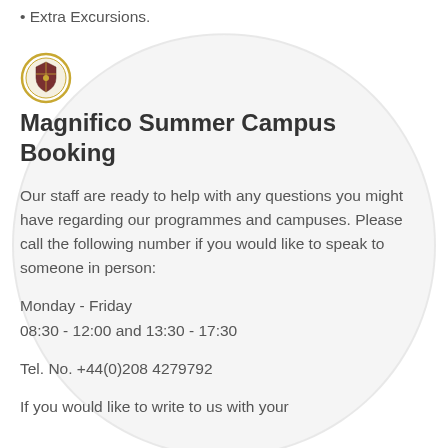Extra Excursions.
Magnifico Summer Campus Booking
Our staff are ready to help with any questions you might have regarding our programmes and campuses. Please call the following number if you would like to speak to someone in person:
Monday - Friday
08:30 - 12:00 and 13:30 - 17:30
Tel. No. +44(0)208 4279792
If you would like to write to us with your